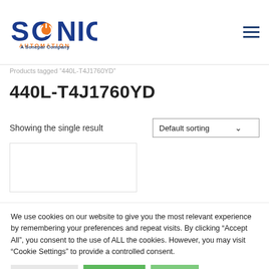[Figure (logo): Sonic Automation logo with orange power button icon in the 'O', blue text, and 'A Sonepar Company' tagline]
Products tagged "440L-T4J1760YD"
440L-T4J1760YD
Showing the single result
Default sorting
[Figure (screenshot): Empty white product card placeholder]
We use cookies on our website to give you the most relevant experience by remembering your preferences and repeat visits. By clicking “Accept All”, you consent to the use of ALL the cookies. However, you may visit "Cookie Settings" to provide a controlled consent.
Cookie Settings
PDPA Policy
Accept All